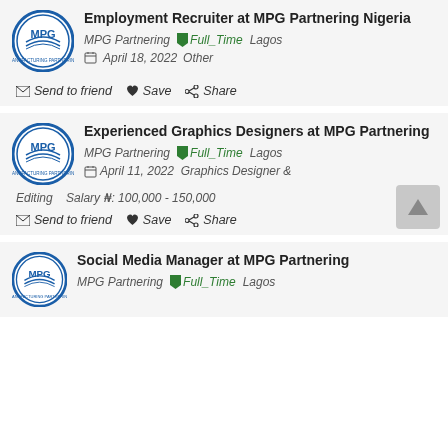Employment Recruiter at MPG Partnering Nigeria
MPG Partnering  Full_Time  Lagos  April 18, 2022  Other
Send to friend  Save  Share
Experienced Graphics Designers at MPG Partnering
MPG Partnering  Full_Time  Lagos  April 11, 2022  Graphics Designer & Editing  Salary ₦: 100,000 - 150,000
Send to friend  Save  Share
Social Media Manager at MPG Partnering
MPG Partnering  Full_Time  Lagos